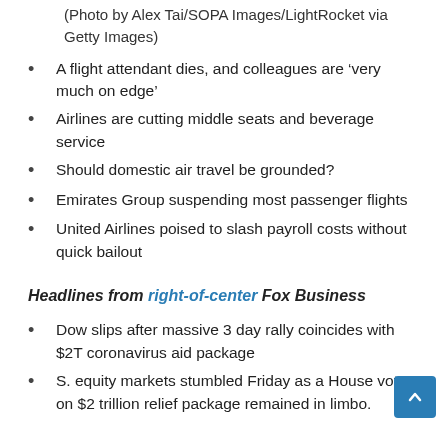(Photo by Alex Tai/SOPA Images/LightRocket via Getty Images)
A flight attendant dies, and colleagues are ‘very much on edge’
Airlines are cutting middle seats and beverage service
Should domestic air travel be grounded?
Emirates Group suspending most passenger flights
United Airlines poised to slash payroll costs without quick bailout
Headlines from right-of-center Fox Business
Dow slips after massive 3 day rally coincides with $2T coronavirus aid package
S. equity markets stumbled Friday as a House vote on $2 trillion relief package remained in limbo.